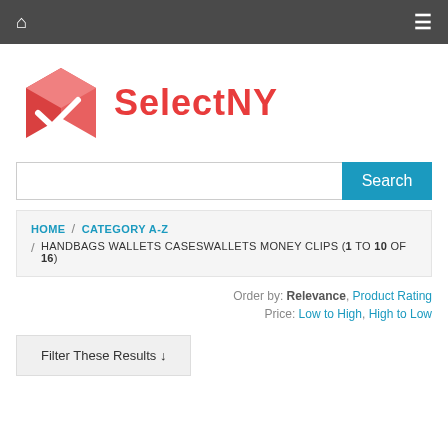SelectNY - navigation header
[Figure (logo): SelectNY logo: a red/pink 3D cube with a white checkmark, followed by the text SelectNY in red bold font]
Search
HOME / CATEGORY A-Z / HANDBAGS WALLETS CASESWALLETS MONEY CLIPS (1 TO 10 OF 16)
Order by: Relevance, Product Rating
Price: Low to High, High to Low
Filter These Results ↓